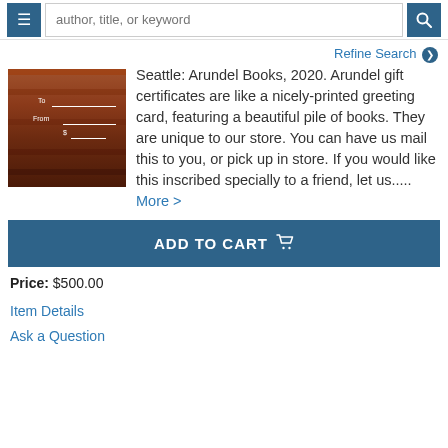author, title, or keyword
Refine Search
[Figure (photo): Book with gift certificate design showing 'To', 'From', and '$' lines on a wooden book cover background]
Seattle: Arundel Books, 2020. Arundel gift certificates are like a nicely-printed greeting card, featuring a beautiful pile of books. They are unique to our store. You can have us mail this to you, or pick up in store. If you would like this inscribed specially to a friend, let us..... More >
ADD TO CART
Price: $500.00
Item Details
Ask a Question